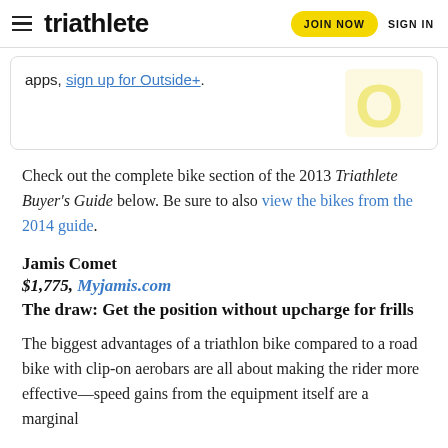triathlete   JOIN NOW   SIGN IN
apps, sign up for Outside+.
Check out the complete bike section of the 2013 Triathlete Buyer's Guide below. Be sure to also view the bikes from the 2014 guide.
Jamis Comet
$1,775, Myjamis.com
The draw: Get the position without upcharge for frills
The biggest advantages of a triathlon bike compared to a road bike with clip-on aerobars are all about making the rider more effective—speed gains from the equipment itself are a marginal